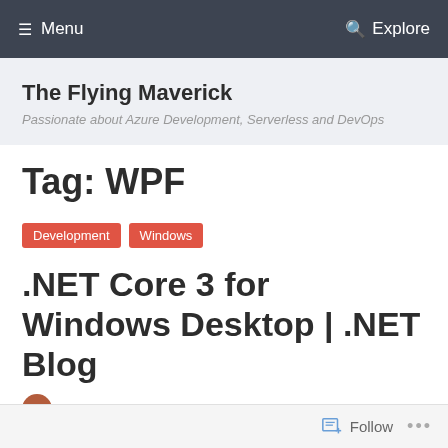≡ Menu   🔍 Explore
The Flying Maverick
Passionate about Azure Development, Serverless and DevOps
Tag: WPF
Development
Windows
.NET Core 3 for Windows Desktop | .NET Blog
Author row (partial)
Follow  ...